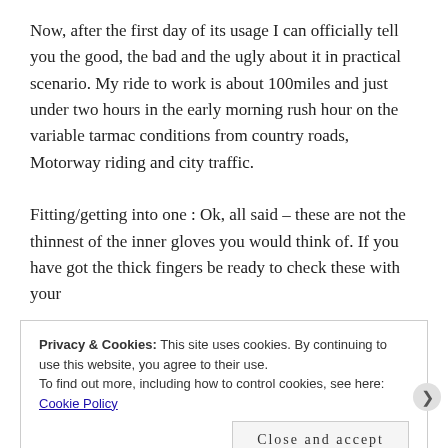Now, after the first day of its usage I can officially tell you the good, the bad and the ugly about it in practical scenario. My ride to work is about 100miles and just under two hours in the early morning rush hour on the variable tarmac conditions from country roads, Motorway riding and city traffic.

Fitting/getting into one : Ok, all said – these are not the thinnest of the inner gloves you would think of. If you have got the thick fingers be ready to check these with your
Privacy & Cookies: This site uses cookies. By continuing to use this website, you agree to their use.
To find out more, including how to control cookies, see here: Cookie Policy
Close and accept